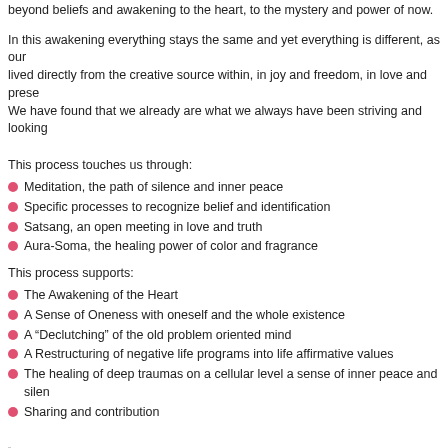beyond beliefs and awakening to the heart, to the mystery and power of now.
In this awakening everything stays the same and yet everything is different, as our lived directly from the creative source within, in joy and freedom, in love and prese We have found that we already are what we always have been striving and looking
This process touches us through:
Meditation, the path of silence and inner peace
Specific processes to recognize belief and identification
Satsang, an open meeting in love and truth
Aura-Soma, the healing power of color and fragrance
This process supports:
The Awakening of the Heart
A Sense of Oneness with oneself and the whole existence
A "Declutching" of the old problem oriented mind
A Restructuring of negative life programs into life affirmative values
The healing of deep traumas on a cellular level a sense of inner peace and silen
Sharing and contribution
"Once we understand that the "I" we talk about daily does not really exist thought, we are free - free as unlimited consciousness, free to love, free t abundant and successful. In this freedom we awaken to the heart"